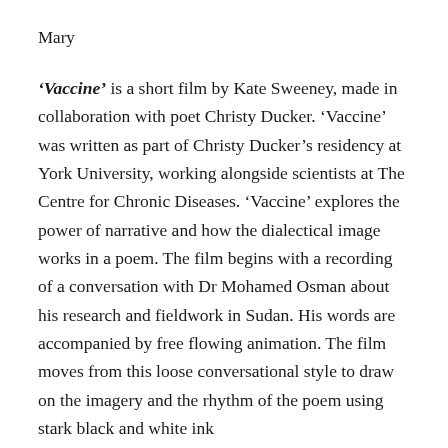Mary
‘Vaccine’ is a short film by Kate Sweeney, made in collaboration with poet Christy Ducker. ‘Vaccine’ was written as part of Christy Ducker’s residency at York University, working alongside scientists at The Centre for Chronic Diseases. ‘Vaccine’ explores the power of narrative and how the dialectical image works in a poem. The film begins with a recording of a conversation with Dr Mohamed Osman about his research and fieldwork in Sudan. His words are accompanied by free flowing animation. The film moves from this loose conversational style to draw on the imagery and the rhythm of the poem using stark black and white ink